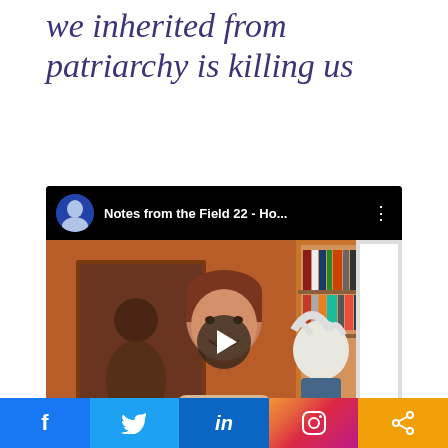we inherited from patriarchy is killing us
[Figure (screenshot): YouTube video thumbnail showing 'Notes from the Field 22 - Ho...' with a woman with short brown hair and a puppet/figurine beside her, in front of a bookshelf and artwork on an orange wall. YouTube-style interface with avatar, title bar, and play button.]
[Figure (infographic): Social media share buttons bar: Facebook (blue, f), Twitter (light blue, bird), LinkedIn (dark blue, in), Instagram (gradient, camera icon), Share (orange, share icon)]